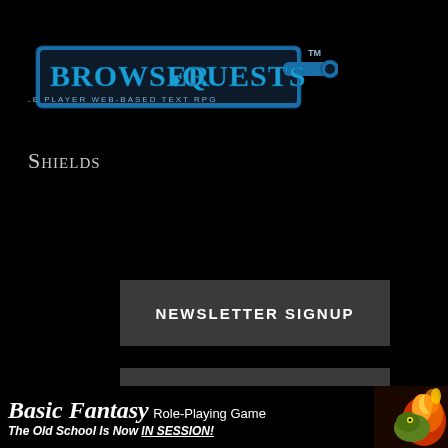[Figure (logo): BrowserQuests logo - blue stylized text with 'SINGLE PLAYER WEB-BASED TEXT RPG' subtitle on black background with TM mark]
Shields
[Figure (other): Newsletter Signup button - dark gray rectangle with white bold uppercase text]
[Figure (other): PayPal Donation button - dark gray rectangle with white bold uppercase text]
[Figure (illustration): Basic Fantasy Role-Playing Game banner - white text on black with dragon illustration on right, tagline: The Old School Is Now IN SESSION!]